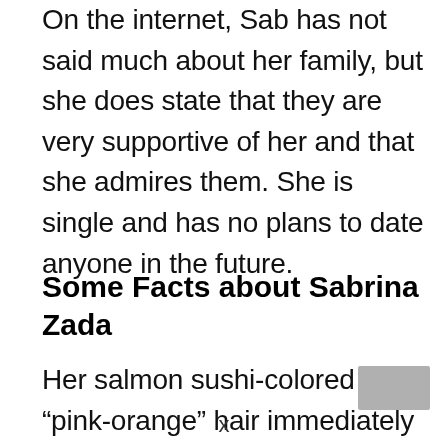On the internet, Sab has not said much about her family, but she does state that they are very supportive of her and that she admires them. She is single and has no plans to date anyone in the future.
Some Facts about Sabrina Zada
Her salmon sushi-colored “pink-orange” hair immediately went viral.
x